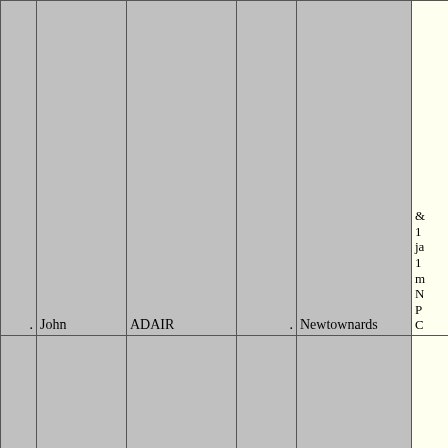|  | First Name | Surname | Suffix | Place | Notes |
| --- | --- | --- | --- | --- | --- |
| . | John | ADAIR | . | Newtownards | &amp; 1 ja 1 m N P C |
| . | John | ADAIR | senior | Newtownards | o N le y g fr W |
| . | John | ADAIR | junior | Newtownards | o N le y g fr W |
|  |  |  |  |  | a N |